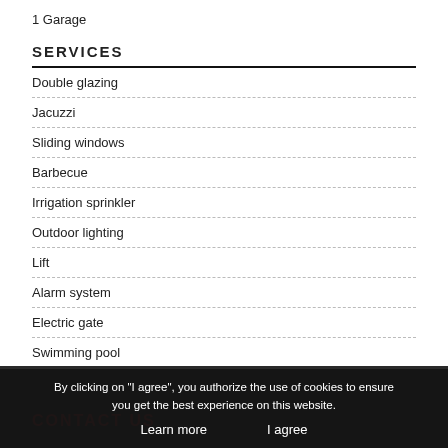1 Garage
SERVICES
Double glazing
Jacuzzi
Sliding windows
Barbecue
Irrigation sprinkler
Outdoor lighting
Lift
Alarm system
Electric gate
Swimming pool
CONTACT US
By clicking on "I agree", you authorize the use of cookies to ensure you get the best experience on this website.
Learn more    I agree